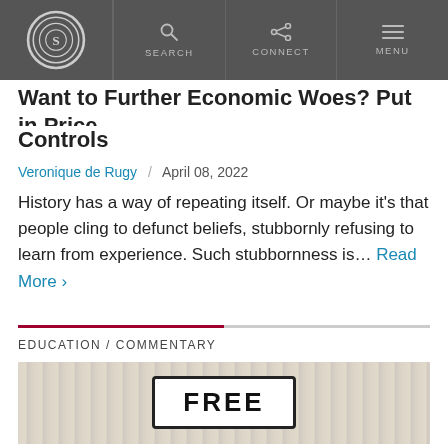S (logo) / SEARCH / CONNECT / MENU
Want to Further Economic Woes? Put in Price Controls
Veronique de Rugy / April 08, 2022
History has a way of repeating itself. Or maybe it's that people cling to defunct beliefs, stubbornly refusing to learn from experience. Such stubbornness is… Read More ›
EDUCATION / COMMENTARY
[Figure (photo): A white sign reading FREE mounted on a wooden plank wall background]